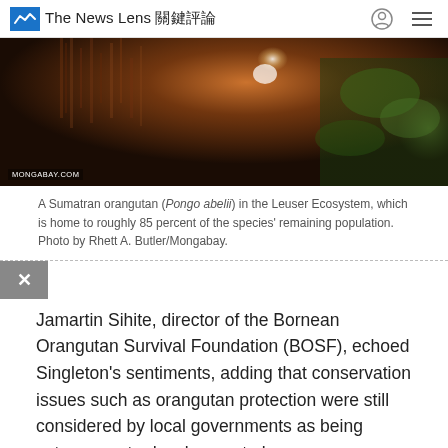The News Lens 關鍵評論
[Figure (photo): Close-up photo of a Sumatran orangutan (Pongo abelii) in the Leuser Ecosystem, taken by Rhett A. Butler/Mongabay. The image is dark and shows fur and foliage.]
A Sumatran orangutan (Pongo abelii) in the Leuser Ecosystem, which is home to roughly 85 percent of the species' remaining population. Photo by Rhett A. Butler/Mongabay.
Jamartin Sihite, director of the Bornean Orangutan Survival Foundation (BOSF), echoed Singleton's sentiments, adding that conservation issues such as orangutan protection were still considered by local governments as being extraneous to development plans.